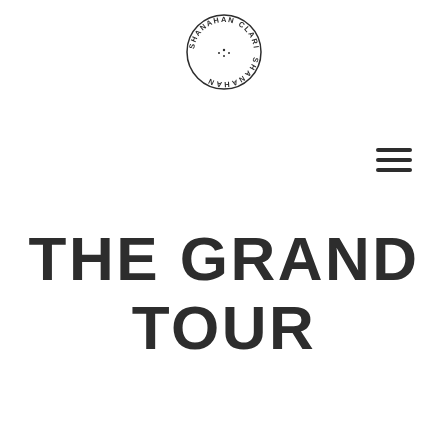[Figure (logo): Circular logo with text 'SHANAHAN CLARISSA' arranged in a circle around a decorative center]
[Figure (other): Hamburger menu icon — three horizontal lines stacked vertically]
THE GRAND TOUR